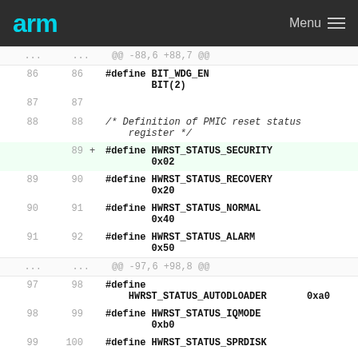arm Menu
@@ -88,6 +88,7 @@
86 86 #define BIT_WDG_EN BIT(2)
87 87
88 88 /* Definition of PMIC reset status register */
89 + #define HWRST_STATUS_SECURITY 0x02
89 90 #define HWRST_STATUS_RECOVERY 0x20
90 91 #define HWRST_STATUS_NORMAL 0x40
91 92 #define HWRST_STATUS_ALARM 0x50
@@ -97,6 +98,8 @@
97 98 #define HWRST_STATUS_AUTODLOADER 0xa0
98 99 #define HWRST_STATUS_IQMODE 0xb0
99 100 #define HWRST_STATUS_SPRDISK